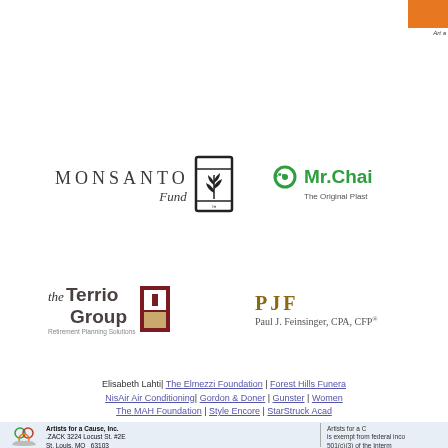[Figure (logo): Orange block top-right corner with small text]
[Figure (logo): Monsanto Fund logo with stylized plant icon]
[Figure (logo): Mr. Chair logo - The Original Plastic Chair]
[Figure (logo): the Terrio Group Retirement Planning Solutions logo]
[Figure (logo): PJF Paul J. Feinsinger, CPA, CFP logo]
Elisabeth Lahti| The Elmezzi Foundation | Forest Hills Funeral | NisAir Air Conditioning| Gordon & Doner | Gunster | Women | The MAH Foundation | Style Encore | StarStruck Acad
Artists for a Cause, Inc. .ZACK 3224 Locust St. #2E St. Louis, MO  63103 Phone: 917-662-7681
Artists for a C is exempt from federal inco 501(c)(3) of the Interm